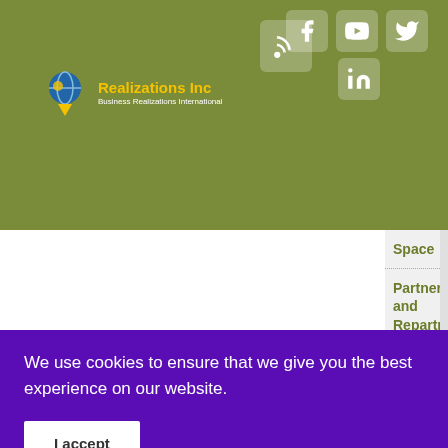[Figure (logo): Realizations Inc logo with globe icon, yellow text 'Realizations Inc' and white subtitle 'Business Realizations International']
[Figure (infographic): Social media icons: RSS feed, Facebook, YouTube, Twitter, LinkedIn on olive green header background]
Space
Partnering and Repartner...
Politics – A Conjecture
We use cookies to ensure that we give you the best experience on our website.
I accept